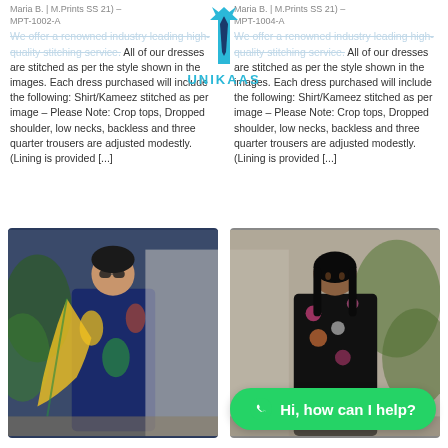[Figure (logo): UNIKAAS brand logo with turquoise tie/shirt icon and text UNIKAAS]
Maria B. | M.Prints SS 21) – MPT-1002-A
Maria B. | M.Prints SS 21) – MPT-1004-A
We offer a renowned industry leading high-quality stitching service. All of our dresses are stitched as per the style shown in the images. Each dress purchased will include the following: Shirt/Kameez stitched as per image – Please Note: Crop tops, Dropped shoulder, low necks, backless and three quarter trousers are adjusted modestly. (Lining is provided [...]
We offer a renowned industry leading high-quality stitching service. All of our dresses are stitched as per the style shown in the images. Each dress purchased will include the following: Shirt/Kameez stitched as per image – Please Note: Crop tops, Dropped shoulder, low necks, backless and three quarter trousers are adjusted modestly. (Lining is provided [...]
[Figure (photo): Woman wearing a navy/tropical print Pakistani dress suit with dupatta, standing outdoors]
[Figure (photo): Woman wearing a black floral print Pakistani dress suit, standing outdoors]
Hi, how can I help?